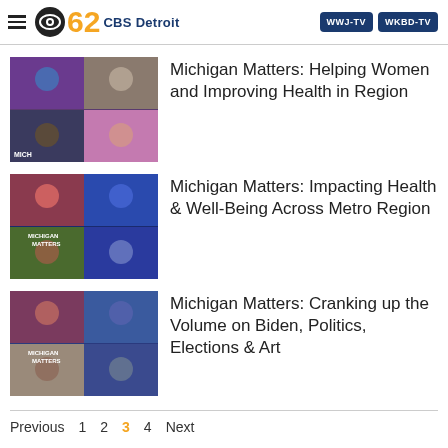CBS 62 CBS Detroit | WWJ-TV | WKBD-TV
Michigan Matters: Helping Women and Improving Health in Region
Michigan Matters: Impacting Health & Well-Being Across Metro Region
Michigan Matters: Cranking up the Volume on Biden, Politics, Elections & Art
Previous 1 2 3 4 Next